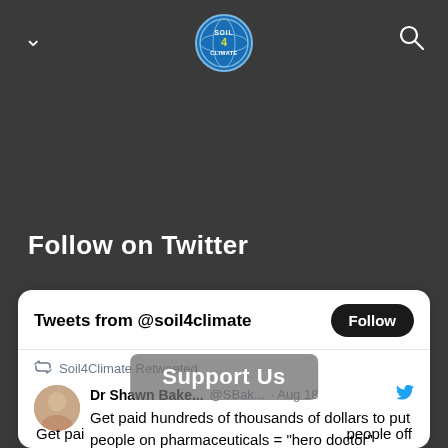[Figure (logo): Soil4Climate circular logo with blue and green colors, top of page header]
Follow on Twitter
[Figure (screenshot): Twitter widget card showing Tweets from @soil4climate with a Follow button, a retweet by Soil4Climate from Dr Shawn Bake... @SBak... Aug 18, with tweet text: Get paid hundreds of thousands of dollars to put people on pharmaceuticals = 'hero doctor'. A Support Us overlay button is visible.]